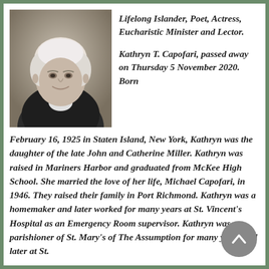[Figure (photo): Black and white photo of an elderly woman with white hair, wearing a dark floral jacket, smiling gently]
Lifelong Islander, Poet, Actress, Eucharistic Minister and Lector.
Kathryn T. Capofari, passed away on Thursday 5 November 2020. Born February 16, 1925 in Staten Island, New York, Kathryn was the daughter of the late John and Catherine Miller. Kathryn was raised in Mariners Harbor and graduated from McKee High School. She married the love of her life, Michael Capofari, in 1946. They raised their family in Port Richmond. Kathryn was a homemaker and later worked for many years at St. Vincent's Hospital as an Emergency Room supervisor. Kathryn was a parishioner of St. Mary's of The Assumption for many years and later at St.